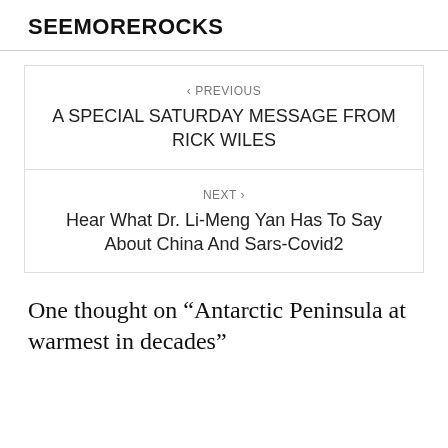SEEMOREROCKS
‹ PREVIOUS
A SPECIAL SATURDAY MESSAGE FROM RICK WILES
NEXT ›
Hear What Dr. Li-Meng Yan Has To Say About China And Sars-Covid2
One thought on “Antarctic Peninsula at warmest in decades”